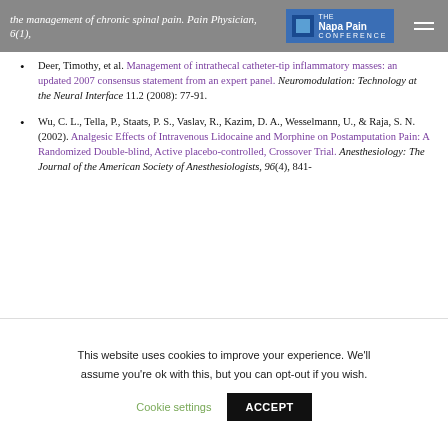the management of chronic spinal pain. Pain Physician, 6(1), [Napa Pain Conference logo]
Deer, Timothy, et al. Management of intrathecal catheter-tip inflammatory masses: an updated 2007 consensus statement from an expert panel. Neuromodulation: Technology at the Neural Interface 11.2 (2008): 77-91.
Wu, C. L., Tella, P., Staats, P. S., Vaslav, R., Kazim, D. A., Wesselmann, U., & Raja, S. N. (2002). Analgesic Effects of Intravenous Lidocaine and Morphine on Postamputation Pain: A Randomized Double-blind, Active placebo-controlled, Crossover Trial. Anesthesiology: The Journal of the American Society of Anesthesiologists, 96(4), 841-
This website uses cookies to improve your experience. We'll assume you're ok with this, but you can opt-out if you wish. Cookie settings ACCEPT